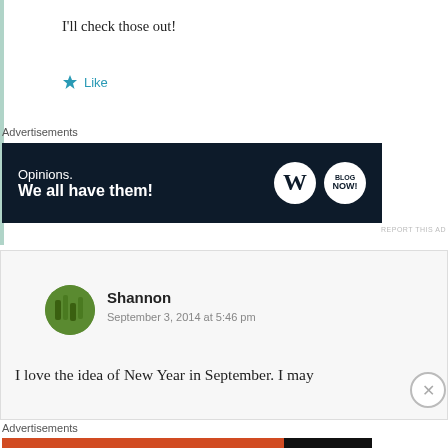I'll check those out!
Like
Advertisements
[Figure (screenshot): WordPress advertisement banner: 'Opinions. We all have them!' with WordPress logo and blog.now badge on dark navy background]
REPORT THIS AD
Shannon
September 3, 2014 at 5:46 pm
I love the idea of New Year in September. I may
Advertisements
[Figure (screenshot): DuckDuckGo advertisement: 'Search, browse, and email with more privacy. All in One Free App' on orange background with DuckDuckGo logo on dark right panel]